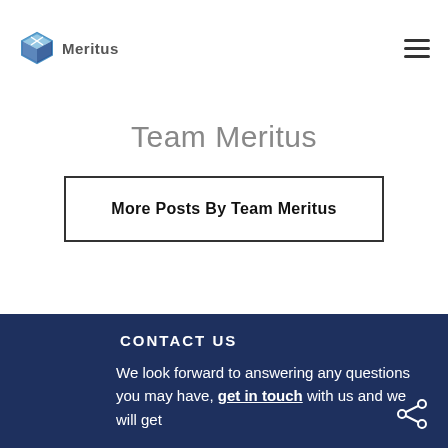[Figure (logo): Meritus logo with cube icon and company name]
Team Meritus
More Posts By Team Meritus
CONTACT US
We look forward to answering any questions you may have, get in touch with us and we will get